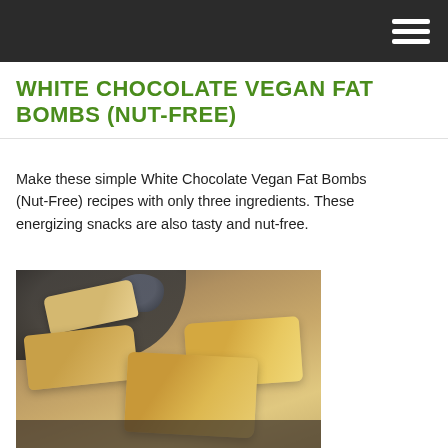WHITE CHOCOLATE VEGAN FAT BOMBS (NUT-FREE)
Make these simple White Chocolate Vegan Fat Bombs (Nut-Free) recipes with only three ingredients. These energizing snacks are also tasty and nut-free.
[Figure (photo): Close-up photo of sliced white chocolate vegan fat bombs on a dark plate, with a dark cup in the background]